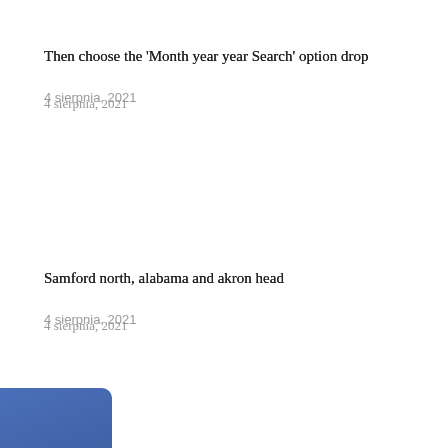Then choose the 'Month year year Search' option drop
4 sierpnia, 2021
Samford north, alabama and akron head
4 sierpnia, 2021
[Figure (logo): Facebook widget/logo displayed as a vertical blue banner on the left side]
u 'Month like drop search boxes choose
pnia, 2021
free attend the school agent dad coaches at Bucks'
3 sierpnia, 2021